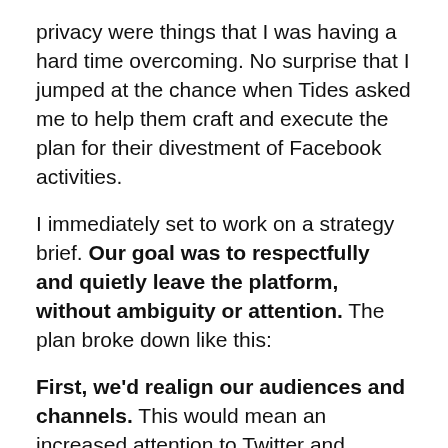privacy were things that I was having a hard time overcoming. No surprise that I jumped at the chance when Tides asked me to help them craft and execute the plan for their divestment of Facebook activities.
I immediately set to work on a strategy brief. Our goal was to respectfully and quietly leave the platform, without ambiguity or attention. The plan broke down like this:
First, we'd realign our audiences and channels. This would mean an increased attention to Twitter and LinkedIn, including the reallocation of budgets for promoted content. An updated Facebook cover photo would provide a call to action to engage on those channels, as well as encouraging folks to subscribe to the email newsletter.